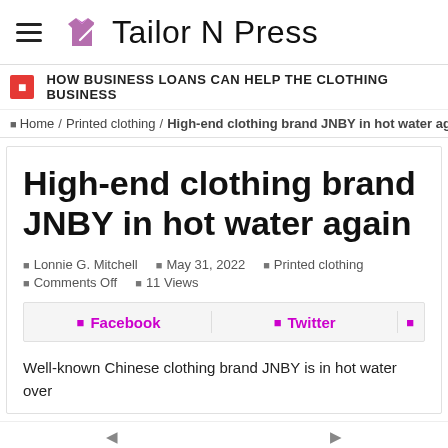Tailor N Press
HOW BUSINESS LOANS CAN HELP THE CLOTHING BUSINESS
Home / Printed clothing / High-end clothing brand JNBY in hot water again
High-end clothing brand JNBY in hot water again
Lonnie G. Mitchell   May 31, 2022   Printed clothing   Comments Off   11 Views
Facebook   Twitter
Well-known Chinese clothing brand JNBY is in hot water over